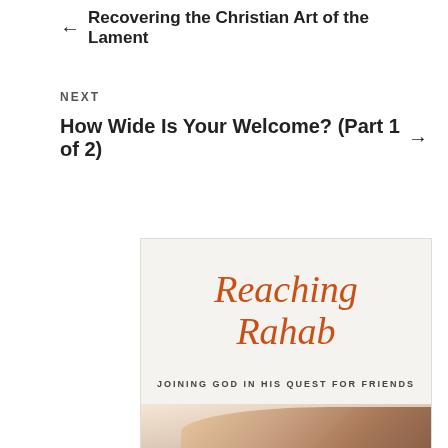← Recovering the Christian Art of the Lament
NEXT
How Wide Is Your Welcome? (Part 1 of 2) →
[Figure (illustration): Book cover for 'Reaching Rahab: Joining God in His Quest for Friends' showing script title in orange/rust color over light background with hands image at bottom]